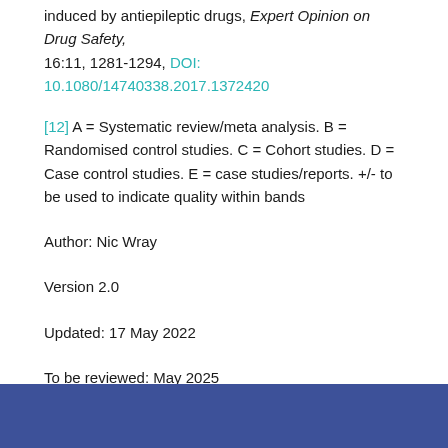induced by antiepileptic drugs, Expert Opinion on Drug Safety, 16:11, 1281-1294, DOI: 10.1080/14740338.2017.1372420
[12] A = Systematic review/meta analysis. B = Randomised control studies. C = Cohort studies. D = Case control studies. E = case studies/reports. +/- to be used to indicate quality within bands
Author: Nic Wray
Version 2.0
Updated: 17 May 2022
To be reviewed: May 2025
Photo by Myriam Zilles on Unsplash